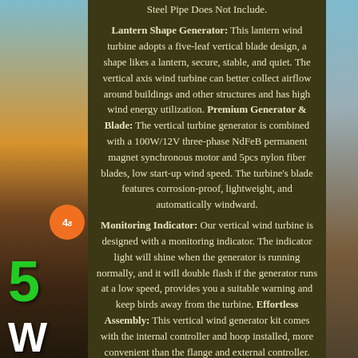[Figure (photo): Background photo showing wind turbines at sunset/dusk with sky gradient, overlaid with dark olive/khaki semi-transparent panel for text. Left side shows wind turbines against orange-blue sky. Bottom left has an orange circular badge with '4' visible and large green '5' numeral and white 'W' below it. Right edge has partial sky/landscape photo.]
Steel Pipe Does Not Include.

Lantern Shape Generator: This lantern wind turbine adopts a five-leaf vertical blade design, a shape likes a lantern, secure, stable, and quiet. The vertical axis wind turbine can better collect airflow around buildings and other structures and has high wind energy utilization. Premium Generator & Blade: The vertical turbine generator is combined with a 100W/12V three-phase NdFeB permanent magnet synchronous motor and 5pcs nylon fiber blades, low start-up wind speed. The turbine's blade features corrosion-proof, lightweight, and automatically windward.

Monitoring Indicator: Our vertical wind turbine is designed with a monitoring indicator. The indicator light will shine when the generator is running normally, and it will double flash if the generator runs at a low speed, provides you a suitable warning and keep birds away from the turbine. Effortless Assembly: This vertical wind generator kit comes with the internal controller and hoop installed, more convenient than the flange and external controller. Hoop type & built-in controller design will keep you from mistake installation, saving more time and process.